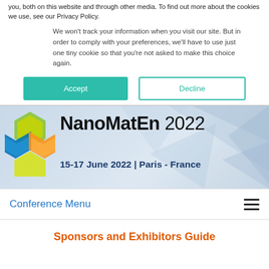you, both on this website and through other media. To find out more about the cookies we use, see our Privacy Policy.
We won't track your information when you visit our site. But in order to comply with your preferences, we'll have to use just one tiny cookie so that you're not asked to make this choice again.
Accept
Decline
[Figure (logo): NanoMatEn 2022 conference banner with hexagonal logo and text '15-17 June 2022 | Paris - France']
Conference Menu
Sponsors and Exhibitors Guide